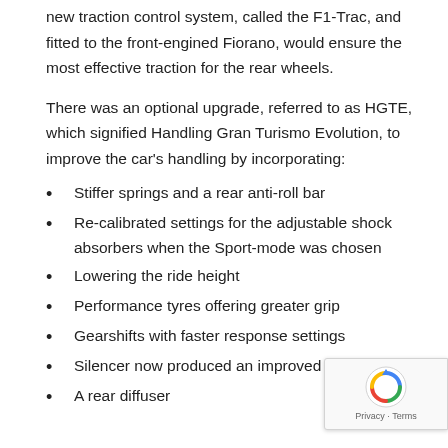new traction control system, called the F1-Trac, and fitted to the front-engined Fiorano, would ensure the most effective traction for the rear wheels.
There was an optional upgrade, referred to as HGTE, which signified Handling Gran Turismo Evolution, to improve the car's handling by incorporating:
Stiffer springs and a rear anti-roll bar
Re-calibrated settings for the adjustable shock absorbers when the Sport-mode was chosen
Lowering the ride height
Performance tyres offering greater grip
Gearshifts with faster response settings
Silencer now produced an improved exhaust note
A rear diffuser